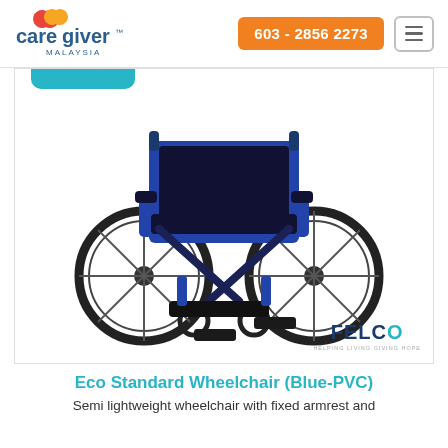[Figure (logo): Caregiver Malaysia logo with orange and red hearts, blue text 'caregiver MALAYSIA']
603 - 2856 2273
[Figure (photo): Blue standard wheelchair with black PVC seat and armrests, fixed footrests, large rear wheels. FELCO brand logo in bottom-right corner.]
Eco Standard Wheelchair (Blue-PVC)
Semi lightweight wheelchair with fixed armrest and